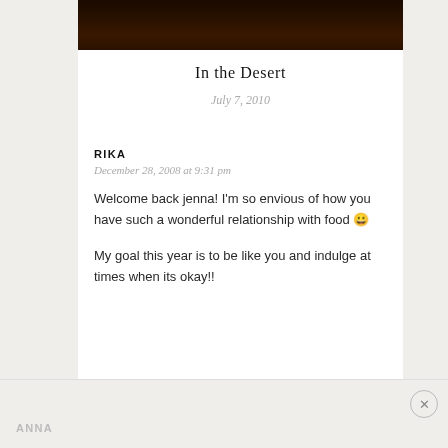[Figure (photo): Dark nighttime photo, appears to show a road or driveway scene with very low lighting]
In the Desert
July 7, 2010
RIKA
December 28, 2008 at 9:31 pm
Welcome back jenna! I'm so envious of how you have such a wonderful relationship with food 😀
My goal this year is to be like you and indulge at times when its okay!!
ANNA